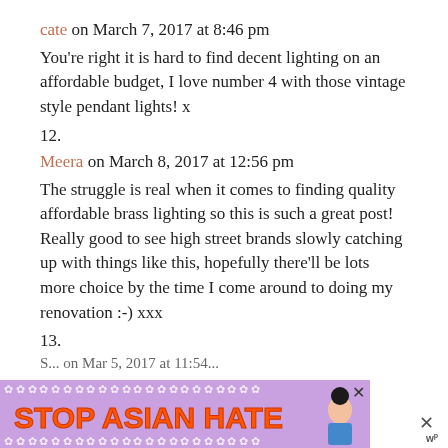cate on March 7, 2017 at 8:46 pm
You're right it is hard to find decent lighting on an affordable budget, I love number 4 with those vintage style pendant lights! x
12.
Meera on March 8, 2017 at 12:56 pm
The struggle is real when it comes to finding quality affordable brass lighting so this is such a great post! Really good to see high street brands slowly catching up with things like this, hopefully there'll be lots more choice by the time I come around to doing my renovation :-) xxx
13.
S... on Mar 5, 2017 at 11:54...
[Figure (other): Advertisement banner reading STOP ASIAN HATE with decorative flower border and anime-style character illustration on purple background]